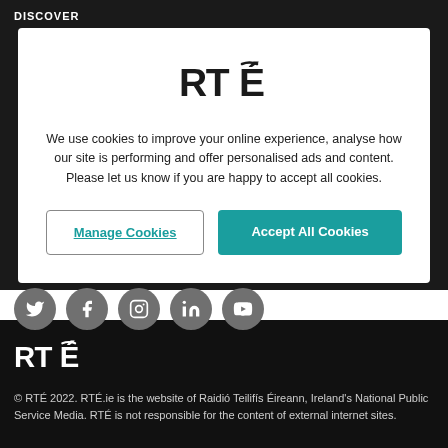DISCOVER
[Figure (logo): RTÉ logo in cookie consent modal]
We use cookies to improve your online experience, analyse how our site is performing and offer personalised ads and content. Please let us know if you are happy to accept all cookies.
Manage Cookies | Accept All Cookies
FOLLOW RTE
[Figure (illustration): Social media icons: Twitter, Facebook, Instagram, LinkedIn, YouTube]
[Figure (logo): RTÉ logo in footer]
© RTÉ 2022. RTÉ.ie is the website of Raidió Teilifís Éireann, Ireland's National Public Service Media. RTÉ is not responsible for the content of external internet sites.